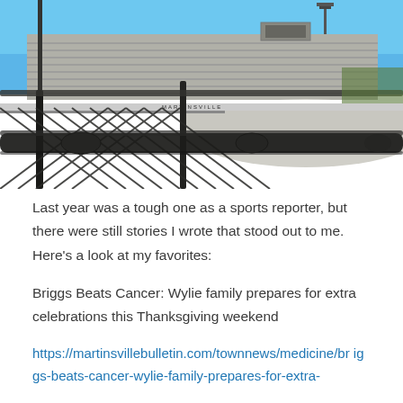[Figure (photo): Outdoor photo of a stock car racing track (Martinsville Speedway) viewed from behind a chain-link fence. The grandstand bleachers are visible in the background under a clear blue sky, with stadium lights. In the foreground is a blurred chain-link fence and metal rail supports.]
Last year was a tough one as a sports reporter, but there were still stories I wrote that stood out to me. Here's a look at my favorites:
Briggs Beats Cancer: Wylie family prepares for extra celebrations this Thanksgiving weekend
https://martinsvillebulletin.com/townnews/medicine/briggs-beats-cancer-wylie-family-prepares-for-extra-